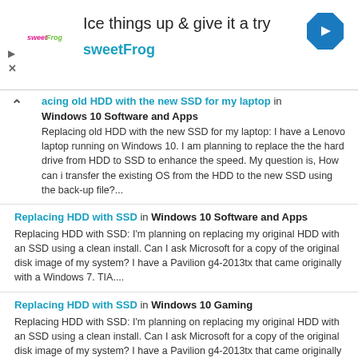[Figure (advertisement): SweetFrog frozen yogurt advertisement banner with logo, headline 'Ice things up & give it a try', brand name 'sweetFrog', and a blue navigation arrow icon]
acing old HDD with the new SSD for my laptop in Windows 10 Software and Apps — Replacing old HDD with the new SSD for my laptop: I have a Lenovo laptop running on Windows 10. I am planning to replace the the hard drive from HDD to SSD to enhance the speed. My question is, How can i transfer the existing OS from the HDD to the new SSD using the back-up file?...
Replacing HDD with SSD in Windows 10 Software and Apps — Replacing HDD with SSD: I'm planning on replacing my original HDD with an SSD using a clean install. Can I ask Microsoft for a copy of the original disk image of my system? I have a Pavilion g4-2013tx that came originally with a Windows 7. TIA....
Replacing HDD with SSD in Windows 10 Gaming — Replacing HDD with SSD: I'm planning on replacing my original HDD with an SSD using a clean install. Can I ask Microsoft for a copy of the original disk image of my system? I have a Pavilion g4-2013tx that came originally with a Windows 7. TIA....